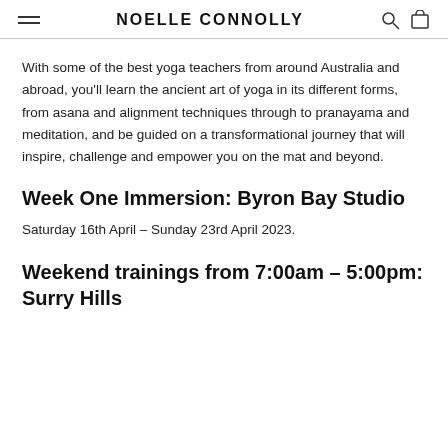NOELLE CONNOLLY
With some of the best yoga teachers from around Australia and abroad, you'll learn the ancient art of yoga in its different forms, from asana and alignment techniques through to pranayama and meditation, and be guided on a transformational journey that will inspire, challenge and empower you on the mat and beyond.
Week One Immersion: Byron Bay Studio
Saturday 16th April – Sunday 23rd April 2023.
Weekend trainings from 7:00am – 5:00pm: Surry Hills